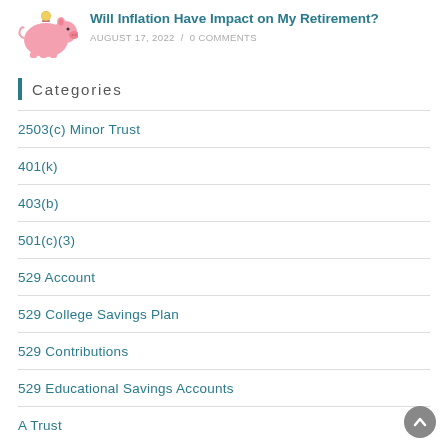[Figure (illustration): Pink piggy bank with a coin being inserted on top]
Will Inflation Have Impact on My Retirement?
AUGUST 17, 2022 / 0 COMMENTS
Categories
2503(c) Minor Trust
401(k)
403(b)
501(c)(3)
529 Account
529 College Savings Plan
529 Contributions
529 Educational Savings Accounts
A Trust